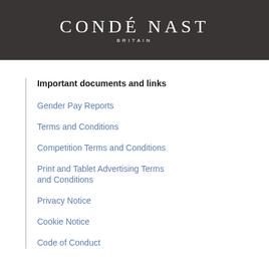[Figure (logo): Condé Nast Britain logo — white text on dark charcoal background, large serif lettering 'CONDÉ NAST' with 'BRITAIN' in small caps below]
Important documents and links
Gender Pay Reports
Terms and Conditions
Competition Terms and Conditions
Print and Tablet Advertising Terms and Conditions
Privacy Notice
Cookie Notice
Code of Conduct